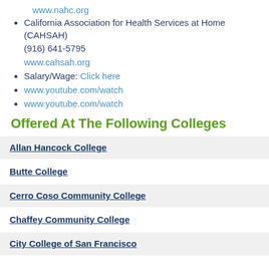www.nahc.org
California Association for Health Services at Home (CAHSAH)
(916) 641-5795
www.cahsah.org
Salary/Wage: Click here
www.youtube.com/watch
www.youtube.com/watch
Offered At The Following Colleges
Allan Hancock College
Butte College
Cerro Coso Community College
Chaffey Community College
City College of San Francisco